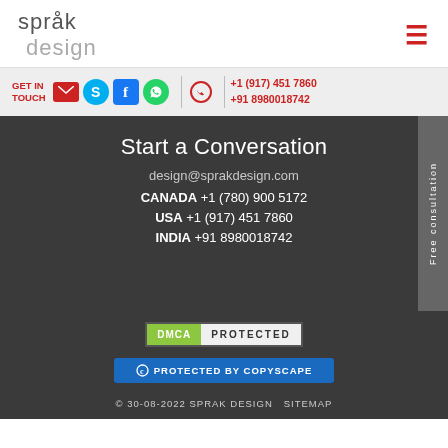sprak design
GET IN TOUCH | +1 (917) 451 7860 | +91 8980018742
Start a Conversation
design@sprakdesign.com
CANADA +1 (780) 900 5172
USA +1 (917) 451 7860
INDIA +91 8980018742
Free consultation
[Figure (logo): DMCA PROTECTED badge]
[Figure (logo): PROTECTED BY COPYSCAPE badge]
© 30-08-2022 SPRAK DESIGN   SITEMAP